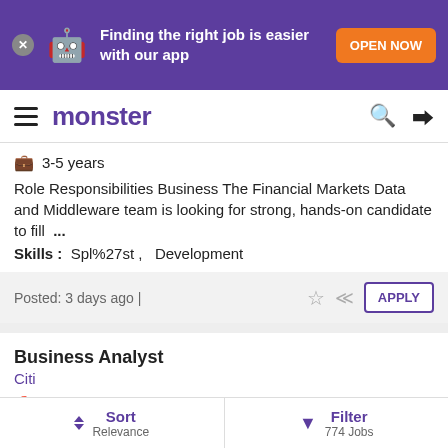Finding the right job is easier with our app | OPEN NOW
monster
3-5 years
Role Responsibilities Business The Financial Markets Data and Middleware team is looking for strong, hands-on candidate to fill ...
Skills: Spl%27st, Development
Posted: 3 days ago |
Business Analyst
Citi
China
2-5 years
Sort Relevance | Filter 774 Jobs